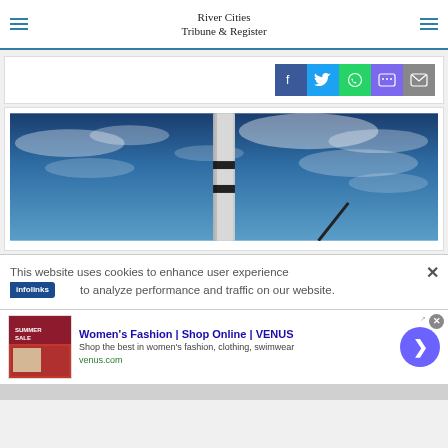River Cities Tribune & Register
[Figure (other): Social share bar with Facebook, Twitter, WhatsApp, Message, and Email buttons]
[Figure (photo): Photo of an industrial chimney or smokestack against a blue sky with wispy clouds, taken from a low angle looking up]
This website uses cookies to enhance user experience to analyze performance and traffic on our website.
[Figure (other): Advertisement banner for Women's Fashion | Shop Online | VENUS. 'Shop the best in women's fashion, clothing, swimwear'. URL: venus.com. With ad image thumbnail and circular CTA button.]